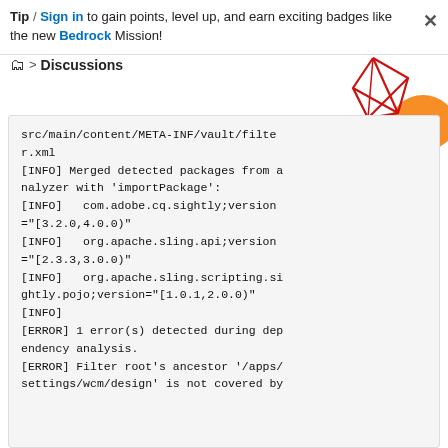Tip / Sign in to gain points, level up, and earn exciting badges like the new Bedrock Mission!
> Discussions
src/main/content/META-INF/vault/filter.xml
[INFO] Merged detected packages from analyzer with 'importPackage':
[INFO]   com.adobe.cq.sightly;version="[3.2.0,4.0.0)"
[INFO]   org.apache.sling.api;version="[2.3.3,3.0.0)"
[INFO]   org.apache.sling.scripting.sightly.pojo;version="[1.0.1,2.0.0)"
[INFO]
[ERROR] 1 error(s) detected during dependency analysis.
[ERROR] Filter root's ancestor '/apps/settings/wcm/design' is not covered by